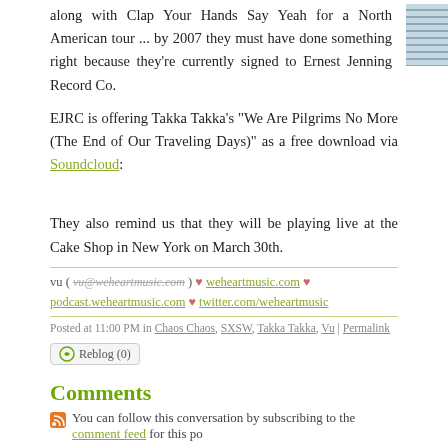along with Clap Your Hands Say Yeah for a North American tour ... by 2007 they must have done something right because they're currently signed to Ernest Jenning Record Co.
EJRC is offering Takka Takka's "We Are Pilgrims No More (The End of Our Traveling Days)" as a free download via Soundcloud:
They also remind us that they will be playing live at the Cake Shop in New York on March 30th.
vu ( vu@weheartmusic.com ) ♥ weheartmusic.com ♥ podcast.weheartmusic.com ♥ twitter.com/weheartmusic
Posted at 11:00 PM in Chaos Chaos, SXSW, Takka Takka, Vu | Permalink Reblog (0)
Comments
You can follow this conversation by subscribing to the comment feed for this po
Post a comment